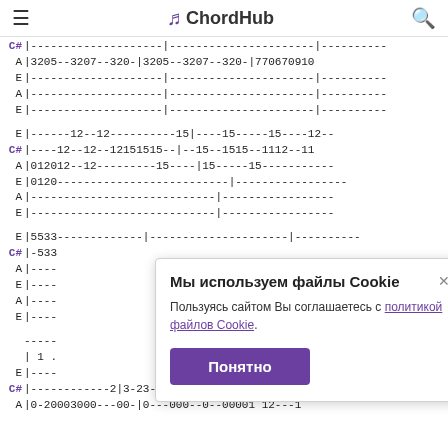ChordHub
Guitar tab content showing C#, A, E string notation with fret numbers
Cookie popup: Мы используем файлы Cookie. Пользуясь сайтом Вы соглашаетесь с политикой файлов Cookie. Понятно button.